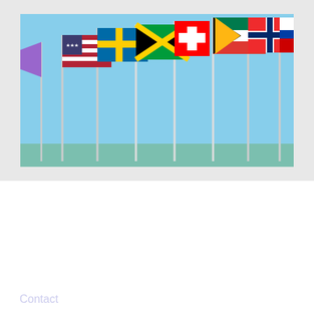[Figure (photo): Photograph of multiple international flags on poles against a blue sky. Flags visible include USA, Sweden, Jamaica, Switzerland, South Africa, Norway, and others.]
FEI Driving World Championship for Pairs Kronenberg 2021
Contact